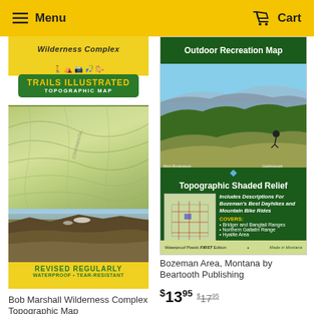Menu  Cart
[Figure (photo): Bob Marshall Wilderness Complex Topographic Map cover — Trails Illustrated yellow and green design with topo map and mountain landscape photo, 'REVISED REGULARLY, WATERPROOF • TEAR-RESISTANT']
[Figure (photo): Bozeman Area, Montana by Beartooth Publishing — Outdoor Recreation Map cover showing mountain biking scene, Topographic Shaded Relief, includes descriptions for Bozeman's Best Dayhikes and Mountain Bike Rides. Covers: Bridger and Bangtail Ranges, Northern Gallatin Range, Hyalite Area. Waterproof Plastic FIRST Edition. Made in Montana.]
Bob Marshall Wilderness Complex Topographic Map
Bozeman Area, Montana by Beartooth Publishing
$13.95  $17.95